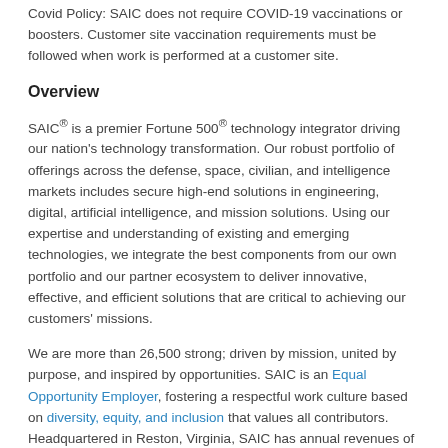Covid Policy: SAIC does not require COVID-19 vaccinations or boosters. Customer site vaccination requirements must be followed when work is performed at a customer site.
Overview
SAIC® is a premier Fortune 500® technology integrator driving our nation's technology transformation. Our robust portfolio of offerings across the defense, space, civilian, and intelligence markets includes secure high-end solutions in engineering, digital, artificial intelligence, and mission solutions. Using our expertise and understanding of existing and emerging technologies, we integrate the best components from our own portfolio and our partner ecosystem to deliver innovative, effective, and efficient solutions that are critical to achieving our customers' missions.
We are more than 26,500 strong; driven by mission, united by purpose, and inspired by opportunities. SAIC is an Equal Opportunity Employer, fostering a respectful work culture based on diversity, equity, and inclusion that values all contributors. Headquartered in Reston, Virginia, SAIC has annual revenues of approximately $7.1 billion. For more information, visit saic.com.